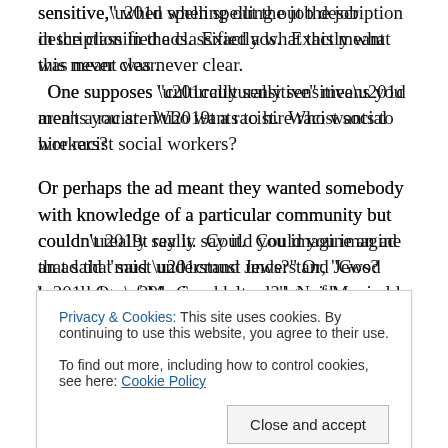sensitive,” when spelling out the job description in the classified ads.  Exactly what this meant was never clear.   One supposes “culturally sensitive” means you aren’t a racist.  Who wants to hire racist social workers?

Or perhaps the ad meant they wanted somebody with knowledge of a particular community but couldn’t really say it.  Could you imagine an ad that said “must understand Jews?” Or, “Good knowledge of Mexican culture?”  Neither could I, so perhaps “culturally sensitive,” was the best they could do.  We don’t want any culturally
Privacy & Cookies: This site uses cookies. By continuing to use this website, you agree to their use.
To find out more, including how to control cookies, see here: Cookie Policy
Maybe I was too sensitive?  I could imagine somebody